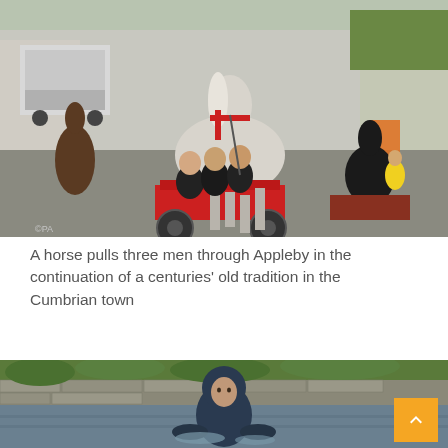[Figure (photo): A horse pulling a red cart with three men riding through a street in Appleby; another horse and cart visible in background; street scene with buildings and a white van]
A horse pulls three men through Appleby in the continuation of a centuries' old tradition in the Cumbrian town
[Figure (photo): A young man in a dark hoodie wading through water, partially submerged, with green vegetation in background]